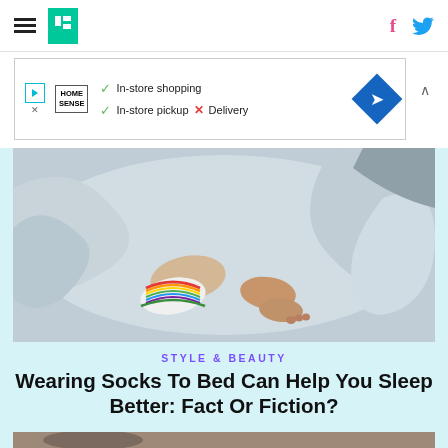HuffPost navigation with hamburger menu, logo, facebook and twitter icons
[Figure (infographic): HomeSense advertisement banner showing in-store shopping, in-store pickup available, delivery not available]
[Figure (photo): Person lying in bed with rainbow striped white socks on one foot, bare foot on the other, grey bedding]
STYLE & BEAUTY
Wearing Socks To Bed Can Help You Sleep Better: Fact Or Fiction?
[Figure (photo): Partial photo at bottom showing hands, appears to be person putting on socks]